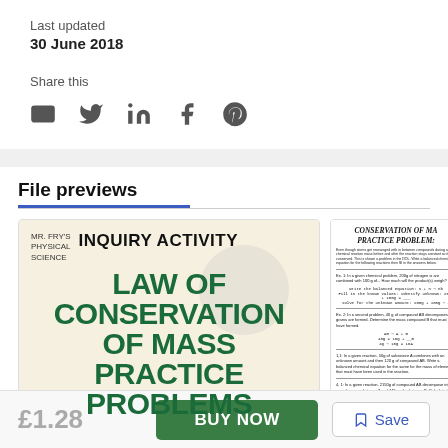Last updated
30 June 2018
Share this
[Figure (infographic): Social share icons: email, Twitter, LinkedIn, Facebook, Pinterest]
File previews
[Figure (screenshot): Preview of document cover: MR. FRY'S PHYSICAL SCIENCE INQUIRY ACTIVITY LAW OF CONSERVATION OF MASS PRACTICE PROBLEMS]
[Figure (screenshot): Preview of document page: Conservation of Mass Practice Problems worksheet with equations and problems]
£1.28
BUY NOW
Save